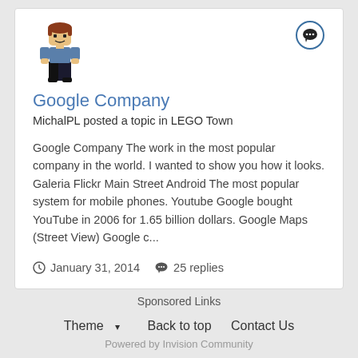[Figure (illustration): LEGO minifigure avatar with brown/red hair and blue outfit]
[Figure (illustration): Chat/comment bubble icon in a circle (top right of card)]
Google Company
MichalPL posted a topic in LEGO Town
Google Company The work in the most popular company in the world. I wanted to show you how it looks. Galeria Flickr Main Street Android The most popular system for mobile phones. Youtube Google bought YouTube in 2006 for 1.65 billion dollars. Google Maps (Street View) Google c...
January 31, 2014   25 replies
Sponsored Links
Theme ▾   Back to top   Contact Us
Powered by Invision Community